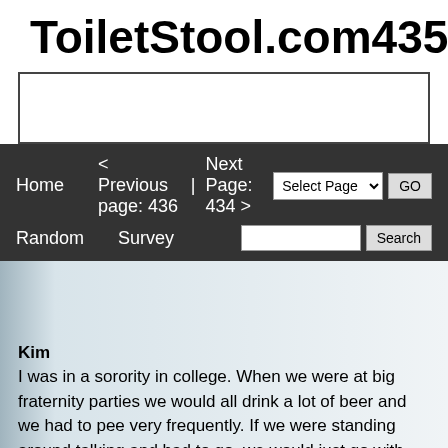ToiletStool.com    435
[Figure (other): Advertisement banner box, white with dark border]
Home   < Previous page: 436  |  Next Page: 434 >   Random   Survey   [Select Page dropdown] GO   [Search input] Search
Kim
I was in a sorority in college. When we were at big fraternity parties we would all drink a lot of beer and we had to pee very frequently. If we were standing around talking and had to go, we would just go with each other into the bathroom. Well I remember one night one of my sorority sisters and I were really drunk. We were talking